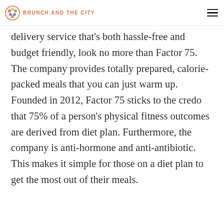BRUNCH AND THE CITY
delivery service that's both hassle-free and budget friendly, look no more than Factor 75. The company provides totally prepared, calorie-packed meals that you can just warm up. Founded in 2012, Factor 75 sticks to the credo that 75% of a person's physical fitness outcomes are derived from diet plan. Furthermore, the company is anti-hormone and anti-antibiotic. This makes it simple for those on a diet plan to get the most out of their meals.